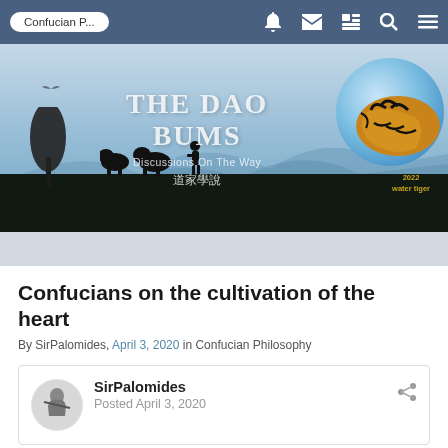Confucian P...
[Figure (screenshot): The Dao Bums website banner with text 'THE DAO BUMS', 'Discussions On The Way', Chinese characters '道家學說', a tiger in a blue sphere, silhouettes of trees and animals, and '2022 water tiger' label]
Confucians on the cultivation of the heart
By SirPalomides, April 3, 2020 in Confucian Philosophy
SirPalomides
Posted April 3, 2020